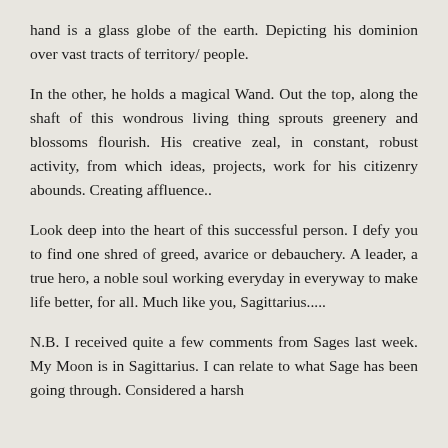hand is a glass globe of the earth. Depicting his dominion over vast tracts of territory/ people.
In the other, he holds a magical Wand. Out the top, along the shaft of this wondrous living thing sprouts greenery and blossoms flourish. His creative zeal, in constant, robust activity, from which ideas, projects, work for his citizenry abounds. Creating affluence..
Look deep into the heart of this successful person. I defy you to find one shred of greed, avarice or debauchery. A leader, a true hero, a noble soul working everyday in everyway to make life better, for all. Much like you, Sagittarius.....
N.B. I received quite a few comments from Sages last week. My Moon is in Sagittarius. I can relate to what Sage has been going through. Considered a harsh